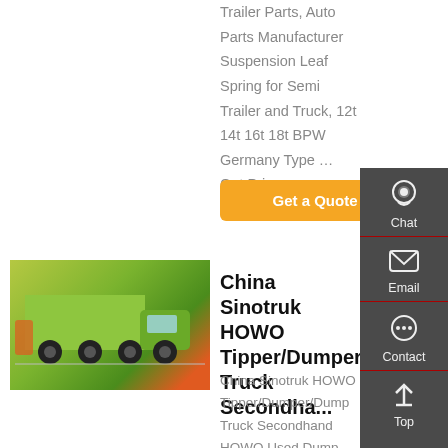Trailer Parts, Auto Parts Manufacturer Suspension Leaf Spring for Semi Trailer and Truck, 12t 14t 16t 18t BPW Germany Type … Get Price
Get a Quote
[Figure (photo): Green Sinotruk HOWO dump/tipper truck at an exhibition]
China Sinotruk HOWO Tipper/Dumper/Dump Truck Secondhand
China Sinotruk HOWO Tipper/Dumper/Dump Truck Secondhand HOWO Used Dump Truck for Sale. Find details...